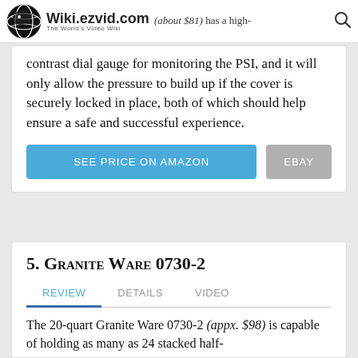Wiki.ezvid.com The World's Video Wiki | (about $81) has a high-
contrast dial gauge for monitoring the PSI, and it will only allow the pressure to build up if the cover is securely locked in place, both of which should help ensure a safe and successful experience.
SEE PRICE ON AMAZON | EBAY
5. Granite Ware 0730-2
REVIEW  DETAILS  VIDEO
The 20-quart Granite Ware 0730-2 (appx. $98) is capable of holding as many as 24 stacked half-